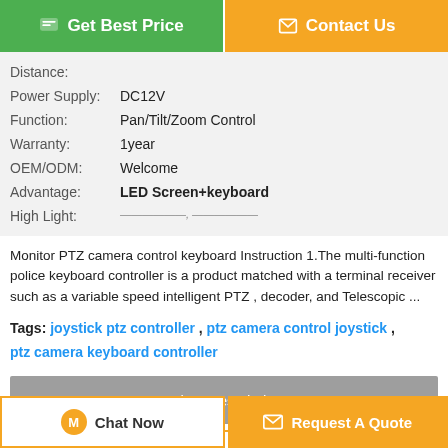[Figure (other): Two action buttons: Get Best Price (green) and Contact Us (orange)]
| Distance: |  |
| Power Supply: | DC12V |
| Function: | Pan/Tilt/Zoom Control |
| Warranty: | 1year |
| OEM/ODM: | Welcome |
| Advantage: | LED Screen+keyboard |
| High Light: | ——————, —————— |
Monitor PTZ camera control keyboard Instruction 1.The multi-function police keyboard controller is a product matched with a terminal receiver such as a variable speed intelligent PTZ , decoder, and Telescopic ...
Tags: joystick ptz controller , ptz camera control joystick , ptz camera keyboard controller
[Figure (other): Product Description > grey button]
[Figure (other): Bottom footer bar with orange border strip]
[Figure (other): Footer buttons: Chat Now and Request A Quote]